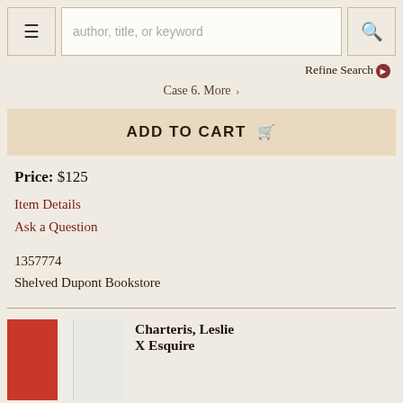author, title, or keyword
Refine Search
Case 6. More >
ADD TO CART
Price: $125
Item Details
Ask a Question
1357774
Shelved Dupont Bookstore
Charteris, Leslie
X Esquire